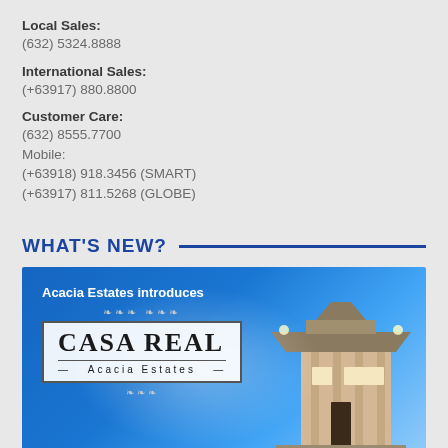Local Sales:
(632) 5324.8888
International Sales:
(+63917) 880.8800
Customer Care:
(632) 8555.7700
Mobile:
(+63918) 918.3456 (SMART)
(+63917) 811.5268 (GLOBE)
WHAT'S NEW?
[Figure (illustration): Acacia Estates introduces Casa Real Acacia Estates banner with logo and building image on blue gradient background]